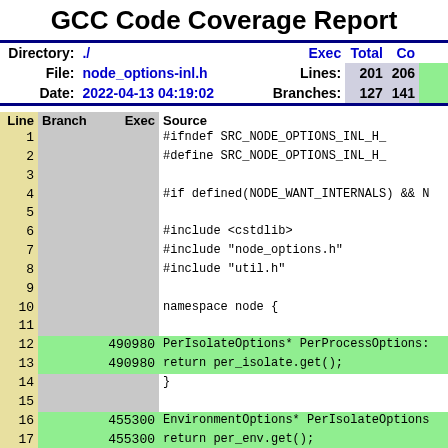GCC Code Coverage Report
| Directory | . | Exec | Total | Coverage |
| --- | --- | --- | --- | --- |
| File: | node_options-inl.h | Lines: | 201 | 206 |  |
| Date: | 2022-04-13 04:19:02 | Branches: | 127 | 141 |  |
| Line | Branch | Exec | Source |
| --- | --- | --- | --- |
| 1 |  |  | #ifndef SRC_NODE_OPTIONS_INL_H_ |
| 2 |  |  | #define SRC_NODE_OPTIONS_INL_H_ |
| 3 |  |  |  |
| 4 |  |  | #if defined(NODE_WANT_INTERNALS) && N |
| 5 |  |  |  |
| 6 |  |  | #include <cstdlib> |
| 7 |  |  | #include "node_options.h" |
| 8 |  |  | #include "util.h" |
| 9 |  |  |  |
| 10 |  |  | namespace node { |
| 11 |  |  |  |
| 12 |  | 490980 | PerIsolateOptions* PerProcessOptions: |
| 13 |  | 490980 |   return per_isolate.get(); |
| 14 |  |  | } |
| 15 |  |  |  |
| 16 |  | 455300 | EnvironmentOptions* PerIsolateOptions |
| 17 |  | 455300 |   return per_env.get(); |